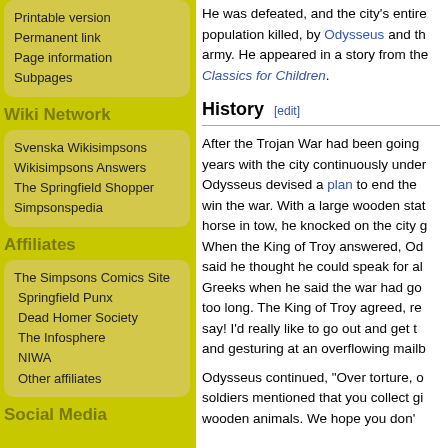Printable version
Permanent link
Page information
Subpages
Wiki Network
Svenska Wikisimpsons
Wikisimpsons Answers
The Springfield Shopper
Simpsonspedia
Affiliates
The Simpsons Comics Site
Springfield Punx
Dead Homer Society
The Infosphere
NIWA
Other affiliates
Social Media
He was defeated, and the city's entire population killed, by Odysseus and the army. He appeared in a story from the Classics for Children.
History [edit]
After the Trojan War had been going years with the city continuously under Odysseus devised a plan to end the win the war. With a large wooden stat horse in tow, he knocked on the city g When the King of Troy answered, Od said he thought he could speak for al Greeks when he said the war had go too long. The King of Troy agreed, re say! I'd really like to go out and get t and gesturing at an overflowing mailb
Odysseus continued, "Over torture, o soldiers mentioned that you collect gi wooden animals. We hope you don'